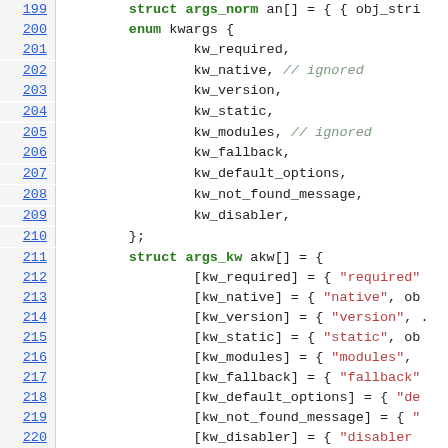[Figure (screenshot): Source code listing showing C code with line numbers 199-220. Contains struct and enum definitions with keyword entries.]